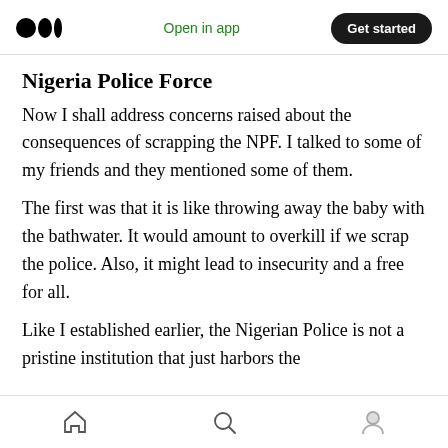Open in app | Get started
Nigeria Police Force
Now I shall address concerns raised about the consequences of scrapping the NPF. I talked to some of my friends and they mentioned some of them.
The first was that it is like throwing away the baby with the bathwater. It would amount to overkill if we scrap the police. Also, it might lead to insecurity and a free for all.
Like I established earlier, the Nigerian Police is not a pristine institution that just harbors the
Home | Search | Profile